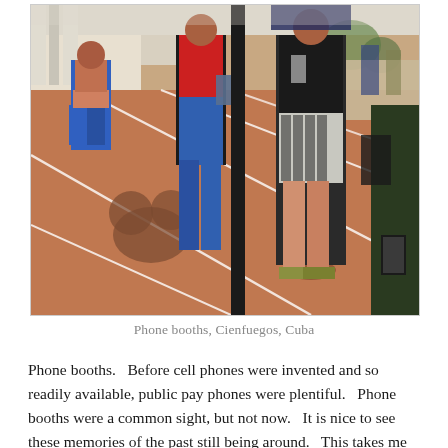[Figure (photo): Outdoor photo of phone booths in a public square in Cienfuegos, Cuba. Several people are standing near phone booths on a terracotta-colored tiled plaza. Shadows of people and a pole are cast on the ground. White lines mark sections of the plaza floor.]
Phone booths, Cienfuegos, Cuba
Phone booths.   Before cell phones were invented and so readily available, public pay phones were plentiful.   Phone booths were a common sight, but not now.   It is nice to see these memories of the past still being around.   This takes me of fond Cuba, I loved the